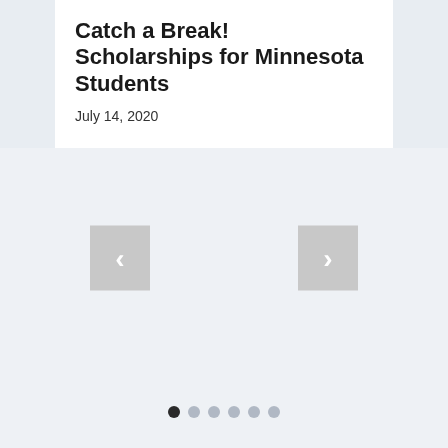Catch a Break! Scholarships for Minnesota Students
July 14, 2020
[Figure (screenshot): Image carousel navigation area with left and right arrow buttons on a light blue-gray background, with six pagination dots at the bottom (first dot active/dark, remaining five inactive/gray).]